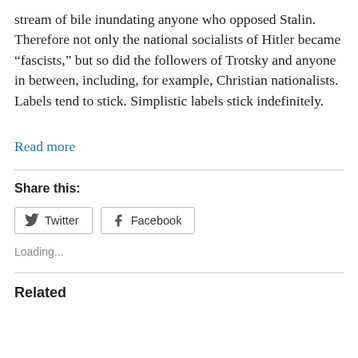stream of bile inundating anyone who opposed Stalin. Therefore not only the national socialists of Hitler became “fascists,” but so did the followers of Trotsky and anyone in between, including, for example, Christian nationalists. Labels tend to stick. Simplistic labels stick indefinitely.
Read more
Share this:
Twitter
Facebook
Loading...
Related